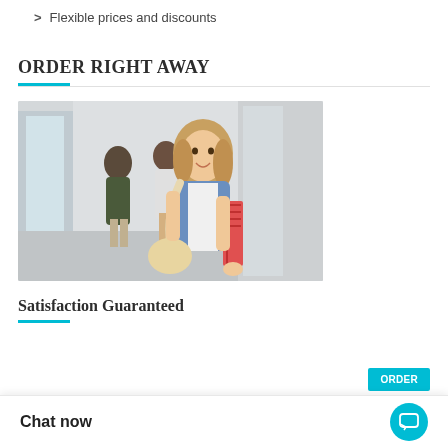Flexible prices and discounts
ORDER RIGHT AWAY
[Figure (photo): A smiling female student walking in a corridor holding notebooks and a bag, with two other students in the background.]
Satisfaction Guaranteed
Chat now